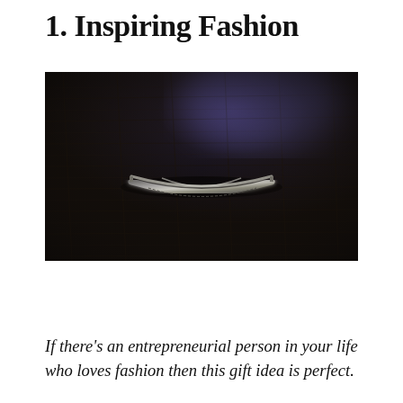1. Inspiring Fashion
[Figure (photo): A silver engraved cuff bracelet resting on a dark wood surface with a blue light accent in the background.]
If there's an entrepreneurial person in your life who loves fashion then this gift idea is perfect.